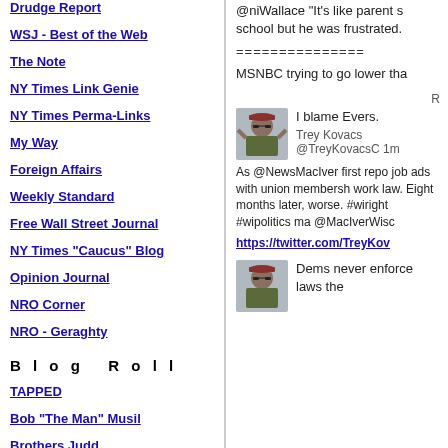Drudge Report
WSJ - Best of the Web
The Note
NY Times Link Genie
NY Times Perma-Links
My Way
Foreign Affairs
Weekly Standard
Free Wall Street Journal
NY Times "Caucus" Blog
Opinion Journal
NRO Corner
NRO - Geraghty
B l o g   R o l l
TAPPED
Bob "The Man" Musil
Brothers Judd
Luskin Conspiracy
@niWallace "It's like parent s... school but he was frustrated.
===============
MSNBC trying to go lower tha...
[Figure (photo): Avatar image of a person in military uniform with sunglasses]
I blame Evers.
Trey Kovacs @TreyKovacsC... 1m
As @NewsMacIver first repo... job ads with union membersh... work law. Eight months later, worse. #wiright #wipolitics ma... @MacIverWisc
https://twitter.com/TreyKov...
[Figure (photo): Avatar image of a person in military uniform with sunglasses]
Dems never enforce laws the...